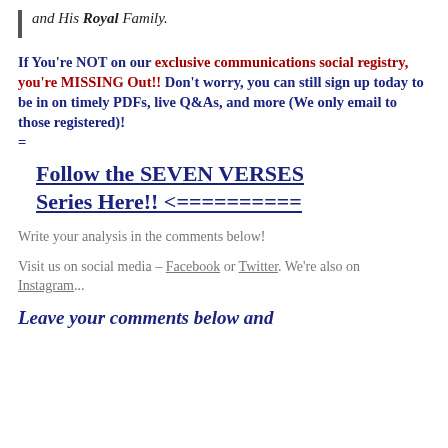and His Royal Family.
If You're NOT on our exclusive communications social registry, you're MISSING Out!! Don't worry, you can still sign up today to be in on timely PDFs, live Q&As, and more (We only email to those registered)! =
Follow the SEVEN VERSES Series Here!! <==========
Write your analysis in the comments below!
Visit us on social media – Facebook or Twitter. We're also on Instagram...
Leave your comments below and